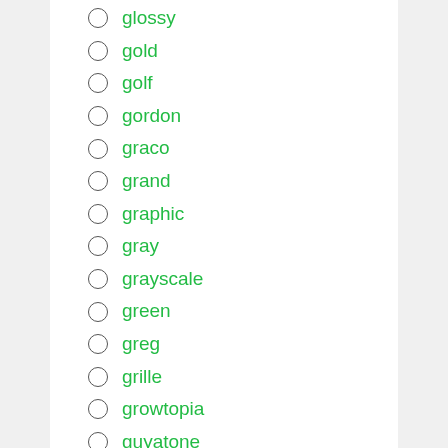glossy
gold
golf
gordon
graco
grand
graphic
gray
grayscale
green
greg
grille
growtopia
guyatone
ha736e
haas
halogen
head
header